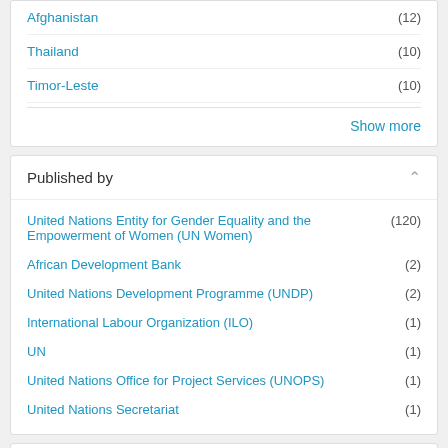Afghanistan (12)
Thailand (10)
Timor-Leste (10)
Show more
Published by
United Nations Entity for Gender Equality and the Empowerment of Women (UN Women) (120)
African Development Bank (2)
United Nations Development Programme (UNDP) (2)
International Labour Organization (ILO) (1)
UN (1)
United Nations Office for Project Services (UNOPS) (1)
United Nations Secretariat (1)
1 - 20 of 257 Results   1 2 3 4 5 ... »